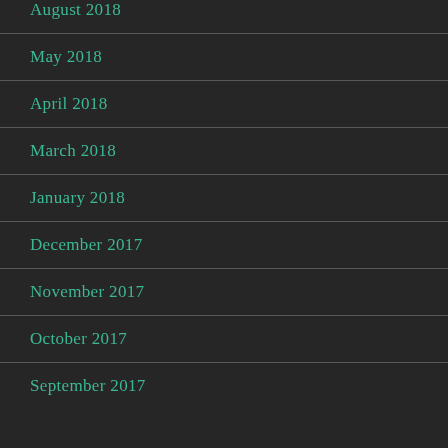August 2018
May 2018
April 2018
March 2018
January 2018
December 2017
November 2017
October 2017
September 2017